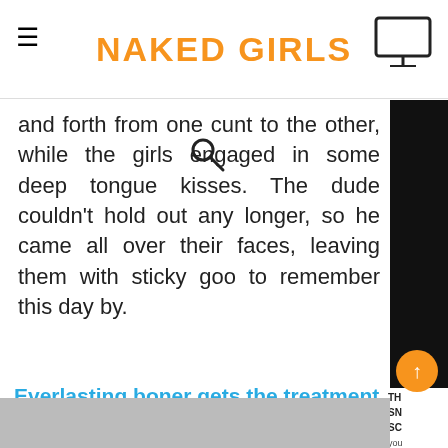NAKED GIRLS
and forth from one cunt to the other, while the girls engaged in some deep tongue kisses. The dude couldn't hold out any longer, so he came all over their faces, leaving them with sticky goo to remember this day by.
Everlasting boner gets the treatment needed by the curvy throat goat of a doctor
Babes , Huge cocks / August 25, 2022
6 comments